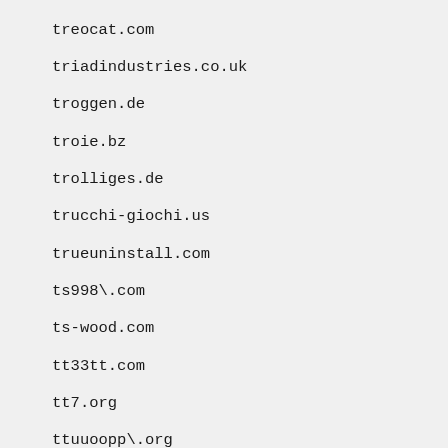treocat.com
triadindustries.co.uk
troggen.de
troie.bz
trolliges.de
trucchi-giochi.us
trueuninstall.com
ts998\.com
ts-wood.com
tt33tt.com
tt7.org
ttuuoopp\.org
tuff-enuff.fnpsites.com
tumor-cn.com
tuofaa.cn
tv-bazzar\.com
tygef.org
tyjyllrj.go1.icpcn.com
tykh\.com\.cn
tzonline.cn
ua\-princeton.com
ufosearch.net
ukeas.com
uk-virtual-office-solutions.com
ultracet-web.com